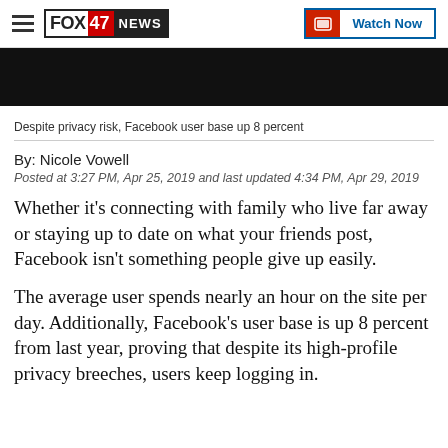FOX 47 NEWS | Watch Now
[Figure (screenshot): Black video thumbnail bar]
Despite privacy risk, Facebook user base up 8 percent
By: Nicole Vowell
Posted at 3:27 PM, Apr 25, 2019 and last updated 4:34 PM, Apr 29, 2019
Whether it’s connecting with family who live far away or staying up to date on what your friends post, Facebook isn't something people give up easily.
The average user spends nearly an hour on the site per day. Additionally, Facebook's user base is up 8 percent from last year, proving that despite its high-profile privacy breeches, users keep logging in.